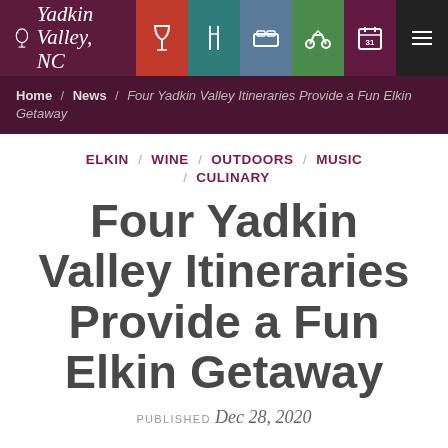Yadkin Valley, NC — navigation bar with icons: wine, dining, lodging, biking, calendar, menu
Home / News / Four Yadkin Valley Itineraries Provide a Fun Elkin Getaway
ELKIN / WINE / OUTDOORS / MUSIC / CULINARY
Four Yadkin Valley Itineraries Provide a Fun Elkin Getaway
PUBLISHED Dec 28, 2020